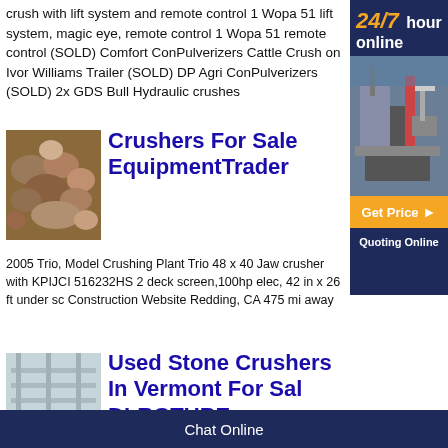crush with lift system and remote control 1 Wopa 51 lift system, magic eye, remote control 1 Wopa 51 remote control (SOLD) Comfort ConPulverizers Cattle Crush on Ivor Williams Trailer (SOLD) DP Agri ConPulverizers (SOLD) 2x GDS Bull Hydraulic crushes
[Figure (screenshot): Ad sidebar with 24/7 hour online text, machinery image, Get Price button, and Quoting Online text on dark navy background]
[Figure (photo): Pile of rocks/stones - crusher equipment context]
Crushers For Sale EquipmentTrader
2005 Trio, Model Crushing Plant Trio 48 x 40 Jaw crusher with KPIJCI 516232HS 2 deck screen,100hp elec, 42 in x 26 ft under sc Construction Website Redding, CA 475 mi away
[Figure (photo): Used stone crushing facility interior with conveyor equipment]
Used Stone Crushers In Vermont For Sal DLRGTUBE
Chat Online